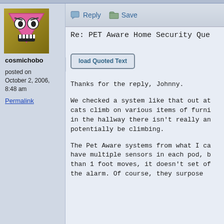[Figure (illustration): Forum user avatar: cartoon face with angry expression, pink triangle shape, white eyes with black pupils, white teeth showing, on a yellow-brown background.]
cosmichobo
posted on
October 2, 2006,
8:48 am
Permalink
Re: PET Aware Home Security Que
Load Quoted Text
Thanks for the reply, Johnny.
We checked a system like that out at cats climb on various items of furni in the hallway there isn't really an potentially be climbing.
The Pet Aware systems from what I ca have multiple sensors in each pod, b than 1 foot moves, it doesn't set of the alarm. Of course, they surpose